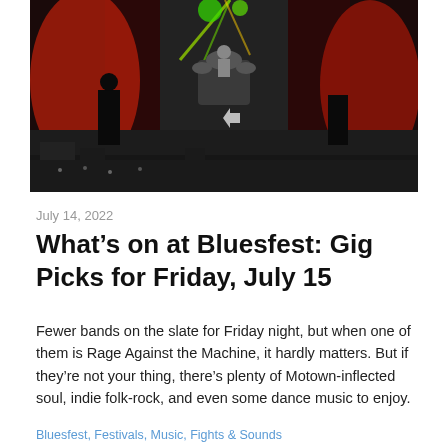[Figure (photo): Concert photo showing a rock band performing on a large stage with dramatic red and black backdrops, green and white stage lighting, and a drummer visible in the center background.]
July 14, 2022
What’s on at Bluesfest: Gig Picks for Friday, July 15
Fewer bands on the slate for Friday night, but when one of them is Rage Against the Machine, it hardly matters. But if they’re not your thing, there’s plenty of Motown-inflected soul, indie folk-rock, and even some dance music to enjoy.
Bluesfest, Festivals, Music, Fights & Sounds